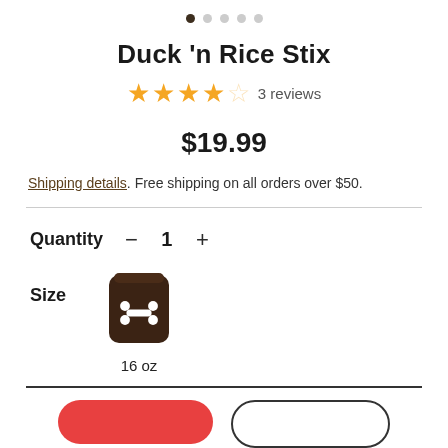[Figure (other): Carousel navigation dots, first dot active (dark), four dots inactive (gray)]
Duck 'n Rice Stix
★★★★☆ 3 reviews
$19.99
Shipping details. Free shipping on all orders over $50.
Quantity — 1 +
Size  16 oz
[Figure (illustration): Brown dog food bag icon with a white bone symbol on it, labeled 16 oz]